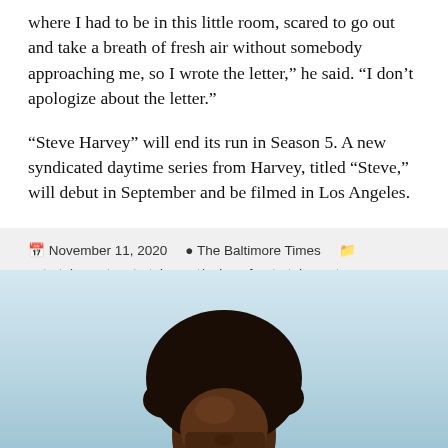where I had to be in this little room, scared to go out and take a breath of fresh air without somebody approaching me, so I wrote the letter,” he said. “I don’t apologize about the letter.”
“Steve Harvey” will end its run in Season 5. A new syndicated daytime series from Harvey, titled “Steve,” will debut in September and be filmed in Los Angeles.
November 11, 2020   The Baltimore Times   entertainment, entertainment/pulse-of-entertainment
[Figure (photo): Photo of a person with a large afro hairstyle, cropped to show head and upper face, against a light blue/sky background.]